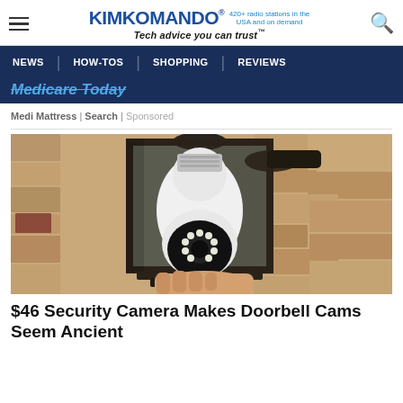KIMKOMANDO® 420+ radio stations in the USA and on demand — Tech advice you can trust™
NEWS | HOW-TOS | SHOPPING | REVIEWS
Medicare Today
Medi Mattress | Search | Sponsored
[Figure (photo): A hand holding a white security camera shaped like a light bulb, installed inside a black outdoor lantern fixture mounted on a textured stone wall.]
$46 Security Camera Makes Doorbell Cams Seem Ancient